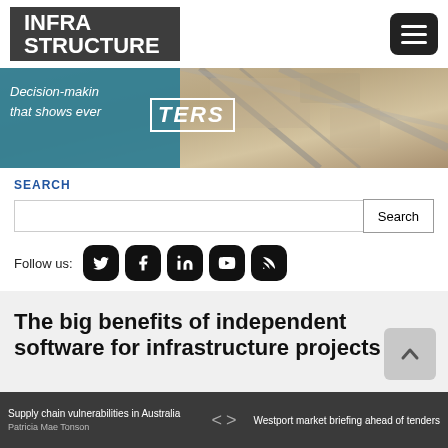INFRA STRUCTURE
[Figure (screenshot): Banner advertisement with aerial view background and teal overlay box. Text reads: 'Decision-making that shows ever' and 'TERS' in large letters.]
SEARCH
Search input field with Search button
Follow us: [Twitter] [Facebook] [LinkedIn] [YouTube] [RSS]
The big benefits of independent software for infrastructure projects
Supply chain vulnerabilities in Australia | Patricia Mae Tonson | < > | Westport market briefing ahead of tenders